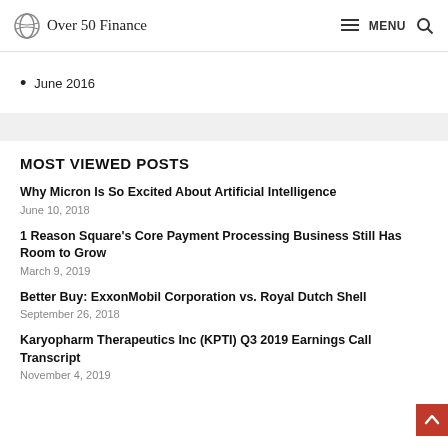Over 50 Finance | MENU
June 2016
MOST VIEWED POSTS
Why Micron Is So Excited About Artificial Intelligence
June 10, 2018
1 Reason Square’s Core Payment Processing Business Still Has Room to Grow
March 9, 2019
Better Buy: ExxonMobil Corporation vs. Royal Dutch Shell
September 26, 2018
Karyopharm Therapeutics Inc (KPTI) Q3 2019 Earnings Call Transcript
November 4, 2019